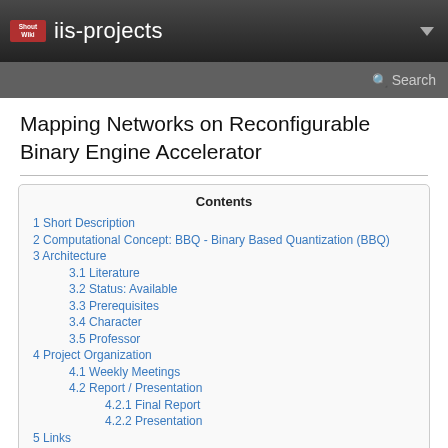iis-projects
Mapping Networks on Reconfigurable Binary Engine Accelerator
| Contents |
| --- |
| 1  Short Description |
| 2  Computational Concept: BBQ - Binary Based Quantization (BBQ) |
| 3  Architecture |
| 3.1  Literature |
| 3.2  Status: Available |
| 3.3  Prerequisites |
| 3.4  Character |
| 3.5  Professor |
| 4  Project Organization |
| 4.1  Weekly Meetings |
| 4.2  Report / Presentation |
| 4.2.1  Final Report |
| 4.2.2  Presentation |
| 5  Links |
Short Description